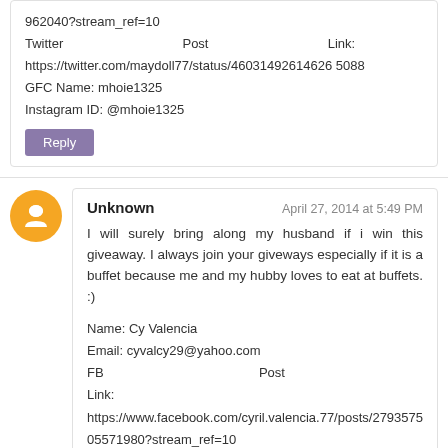962040?stream_ref=10
Twitter Post Link: https://twitter.com/maydoll77/status/460314926146265088
GFC Name: mhoie1325
Instagram ID: @mhoie1325
Reply
Unknown | April 27, 2014 at 5:49 PM
I will surely bring along my husband if i win this giveaway. I always join your giveways especially if it is a buffet because me and my hubby loves to eat at buffets. :)
Name: Cy Valencia
Email: cyvalcy29@yahoo.com
FB Post Link: https://www.facebook.com/cyril.valencia.77/posts/279357505571980?stream_ref=10
Twitter Post Link: https://twitter.com/cyvalcy29/status/460353942510002177
GFC Name: cy valencia
Instagram ID: @allcutestuffs
Reply